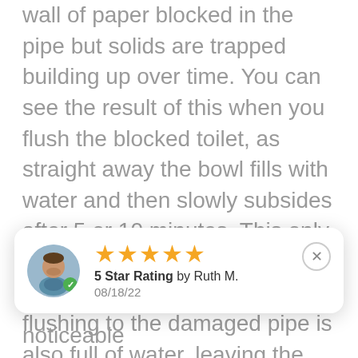wall of paper blocked in the pipe but solids are trapped building up over time. You can see the result of this when you flush the blocked toilet, as straight away the bowl fills with water and then slowly subsides after 5 or 10 minutes. This only occurs when the rest of the pipework from the toilet you're flushing to the damaged pipe is also full of water, leaving the water with nowhere to go but to rise upwards. The distance to the blockage down the line and frequency of use usually depends on the amount of time it'll take for the pipe to fill with waste water as well.
In this case, the damaged bend was 20 meters away from the bathroom, with no other plumbing
[Figure (other): Review card popup showing a 5-star rating by Ruth M. on 08/18/22, with a plumber avatar icon and a close button.]
noticeable